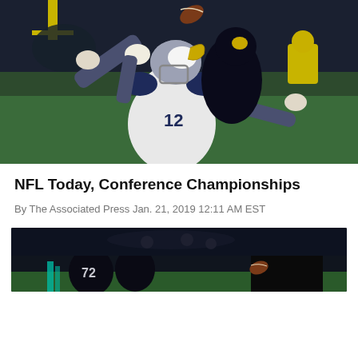[Figure (photo): NFL football game action photo: two players, one in LA Rams white uniform #12 reaching up for a ball, another player in dark New Orleans Saints uniform defending, stadium crowd in background]
NFL Today, Conference Championships
By The Associated Press Jan. 21, 2019 12:11 AM EST
[Figure (photo): Second NFL game photo showing players on the field, football visible mid-air, stadium background with fans]